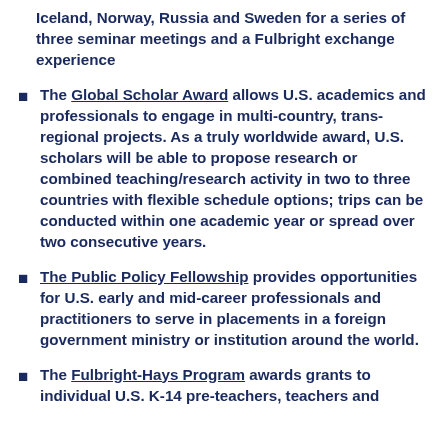Iceland, Norway, Russia and Sweden for a series of three seminar meetings and a Fulbright exchange experience
The Global Scholar Award allows U.S. academics and professionals to engage in multi-country, trans-regional projects. As a truly worldwide award, U.S. scholars will be able to propose research or combined teaching/research activity in two to three countries with flexible schedule options; trips can be conducted within one academic year or spread over two consecutive years.
The Public Policy Fellowship provides opportunities for U.S. early and mid-career professionals and practitioners to serve in placements in a foreign government ministry or institution around the world.
The Fulbright-Hays Program awards grants to individual U.S. K-14 pre-teachers, teachers and